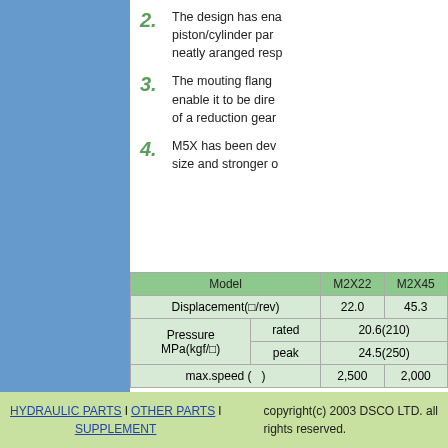2. The design has enabled piston/cylinder par... neatly aranged resp...
3. The mouting flang... enable it to be dire... of a reduction gear...
4. M5X has been dev... size and stronger o...
| Model | M2X22 | M2X45 |
| --- | --- | --- |
| Displacement(□/rev) | 22.0 | 45.3 |
| Pressure MPa(kgf/□) | rated | 20.6(210) |
| Pressure MPa(kgf/□) | peak | 24.5(250) |
| max.speed (  ) | 2,500 | 2,000 |
HYDRAULIC PARTS | OTHER PARTS | SUPPLEMENT    copyright(c) 2003 DSCO LTD. all rights reserved.